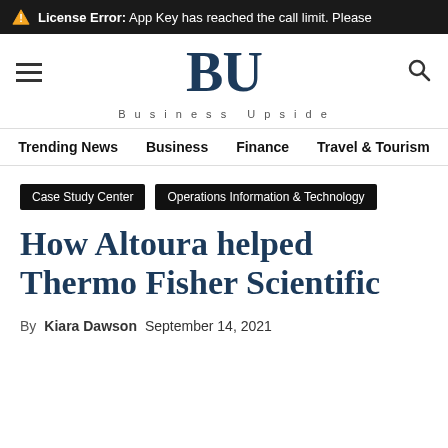⚠ License Error: App Key has reached the call limit. Please
[Figure (logo): Business Upside (BU) website logo with hamburger menu icon and search icon]
Trending News  Business  Finance  Travel & Tourism
Case Study Center  Operations Information & Technology
How Altoura helped Thermo Fisher Scientific
By Kiara Dawson  September 14, 2021